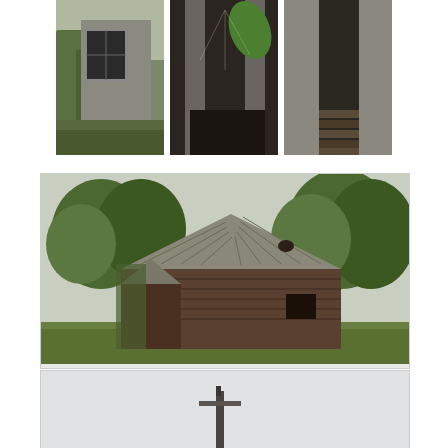[Figure (photo): Three thumbnail photos side by side showing abandoned building interiors with broken windows, debris, and overgrown vegetation]
[Figure (photo): Large photo of an old abandoned wooden barn or cabin with a deteriorating shingled roof, surrounded by overgrown grass and trees in a rural setting]
[Figure (photo): Partial view of another abandoned structure or scene, cut off at bottom of page, showing light gray sky]